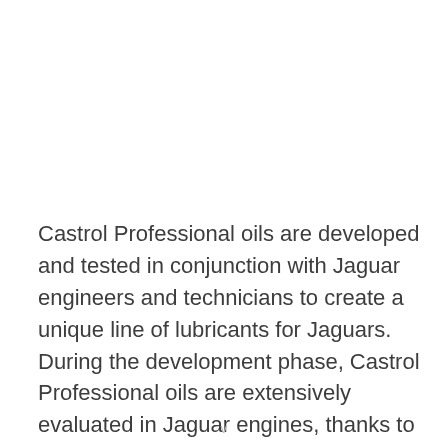Castrol Professional oils are developed and tested in conjunction with Jaguar engineers and technicians to create a unique line of lubricants for Jaguars. During the development phase, Castrol Professional oils are extensively evaluated in Jaguar engines, thanks to the [partial line faded]
v